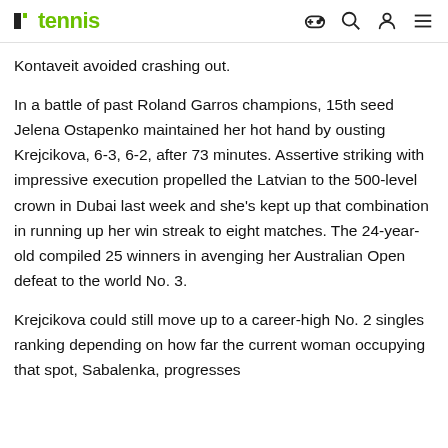7tennis (logo with icons)
Kontaveit avoided crashing out.
In a battle of past Roland Garros champions, 15th seed Jelena Ostapenko maintained her hot hand by ousting Krejcikova, 6-3, 6-2, after 73 minutes. Assertive striking with impressive execution propelled the Latvian to the 500-level crown in Dubai last week and she's kept up that combination in running up her win streak to eight matches. The 24-year-old compiled 25 winners in avenging her Australian Open defeat to the world No. 3.
Krejcikova could still move up to a career-high No. 2 singles ranking depending on how far the current woman occupying that spot, Sabalenka, progresses